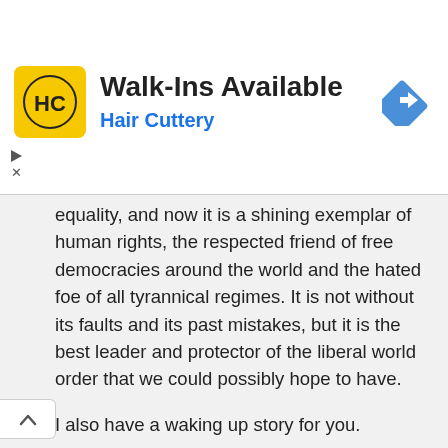[Figure (advertisement): Hair Cuttery advertisement banner. Yellow HC logo square on left, 'Walk-Ins Available' headline in bold black, 'Hair Cuttery' in blue below, navigation arrow diamond icon on right.]
equality, and now it is a shining exemplar of human rights, the respected friend of free democracies around the world and the hated foe of all tyrannical regimes. It is not without its faults and its past mistakes, but it is the best leader and protector of the liberal world order that we could possibly hope to have.
I also have a waking up story for you.
Once upon a time a nation rose to prominence after emerging unscathed from two world wars which damaged the infrastructure of its competitors. The world's major power players quickly coalesced around this new superpower and began maneuvering other nations into a tight empire-like alliance with it. After a